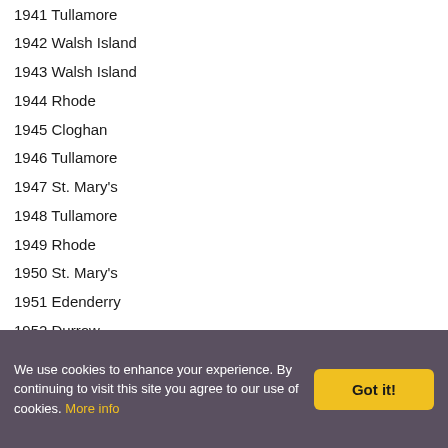1941  Tullamore
1942  Walsh Island
1943  Walsh Island
1944  Rhode
1945  Cloghan
1946  Tullamore
1947  St. Mary's
1948  Tullamore
1949  Rhode
1950  St. Mary's
1951  Edenderry
1952  Durrow
1953  Edenderry
1954  Tullamore
1955  Rhode
1956  Tullamore
1957  Edenderry
1958  Rhode
1959  St. Patrick's
We use cookies to enhance your experience. By continuing to visit this site you agree to our use of cookies. More info